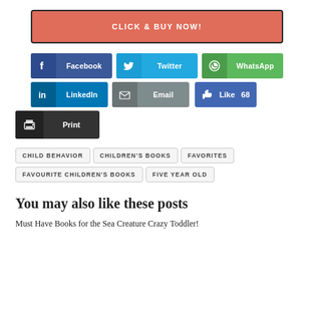CLICK & BUY NOW!
[Figure (infographic): Social sharing buttons: Facebook, Twitter, WhatsApp, LinkedIn, Email, Like 68, Print]
CHILD BEHAVIOR
CHILDREN'S BOOKS
FAVORITES
FAVOURITE CHILDREN'S BOOKS
FIVE YEAR OLD
You may also like these posts
Must Have Books for the Sea Creature Crazy Toddler!